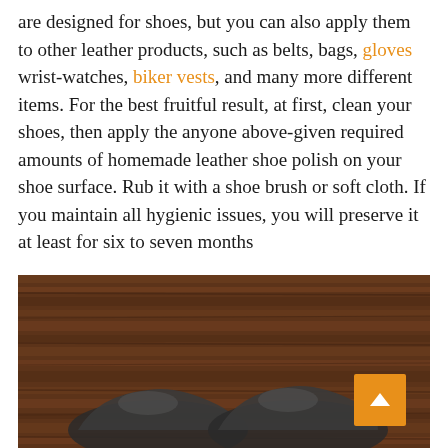are designed for shoes, but you can also apply them to other leather products, such as belts, bags, gloves wrist-watches, biker vests, and many more different items. For the best fruitful result, at first, clean your shoes, then apply the anyone above-given required amounts of homemade leather shoe polish on your shoe surface. Rub it with a shoe brush or soft cloth. If you maintain all hygienic issues, you will preserve it at least for six to seven months
[Figure (photo): Photo of leather shoes placed on a wooden surface, viewed from above. A orange scroll-to-top button is visible in the bottom-right corner of the image.]